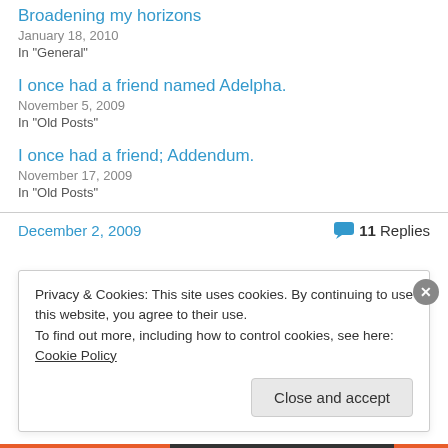Broadening my horizons
January 18, 2010
In "General"
I once had a friend named Adelpha.
November 5, 2009
In "Old Posts"
I once had a friend; Addendum.
November 17, 2009
In "Old Posts"
December 2, 2009  11 Replies
Privacy & Cookies: This site uses cookies. By continuing to use this website, you agree to their use. To find out more, including how to control cookies, see here: Cookie Policy
Close and accept